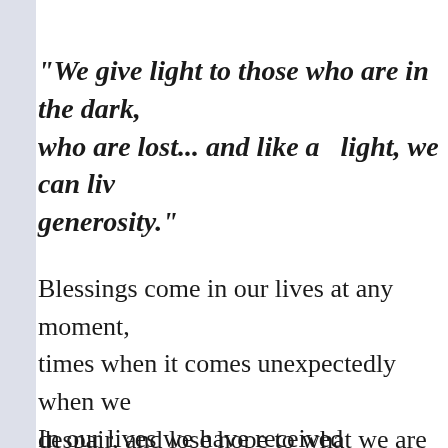"We give light to those who are in the dark, who are lost... and like a   light, we can live generosity."
Blessings come in our lives at any moment, times when it comes unexpectedly when we despair, and lose hope to what we are praying, interpret blessings as God's way of letting us heard for what we are wishing and aspiring
In our lives we have received numerous bl...